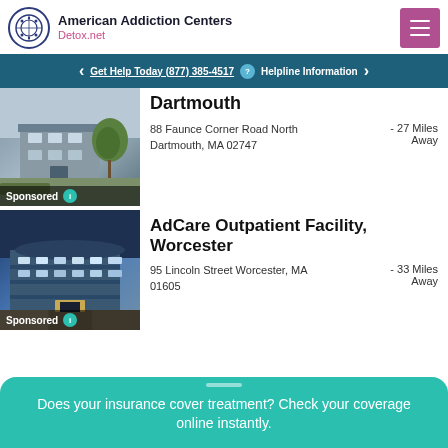American Addiction Centers Detox.net
Get Help Today (877) 385-4517  Helpline Information
Dartmouth
88 Faunce Corner Road North Dartmouth, MA 02747  - 27 Miles Away
Sponsored
AdCare Outpatient Facility, Worcester
95 Lincoln Street Worcester, MA 01605  - 33 Miles Away
Sponsored
Does your insurance cover treatment? Check your coverage online instantly.